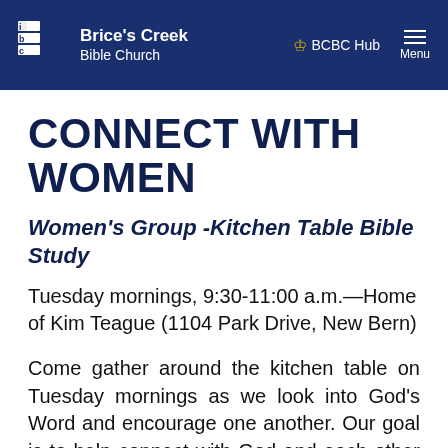Brice's Creek Bible Church | BCBC Hub | Menu
CONNECT WITH WOMEN
Women's Group -Kitchen Table Bible Study
Tuesday mornings, 9:30-11:00 a.m.—Home of Kim Teague (1104 Park Drive, New Bern)
Come gather around the kitchen table on Tuesday mornings as we look into God's Word and encourage one another. Our goal is to help connect with God and each other to grow in the Lord. This fall, we will be diving into a study by